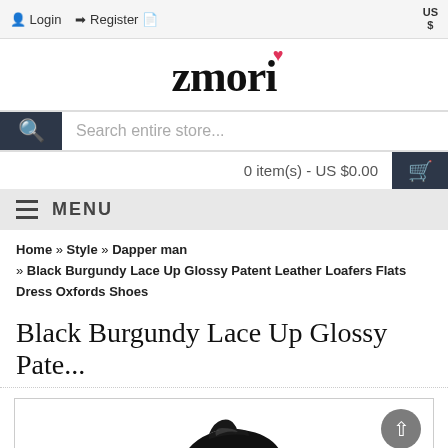Login  Register  US $
[Figure (logo): zmori brand logo with pink heart above the i]
Search entire store...
0 item(s) - US $0.00
MENU
Home » Style » Dapper man » Black Burgundy Lace Up Glossy Patent Leather Loafers Flats Dress Oxfords Shoes
Black Burgundy Lace Up Glossy Pate...
[Figure (photo): Partial view of a glossy black shoe against a white background]